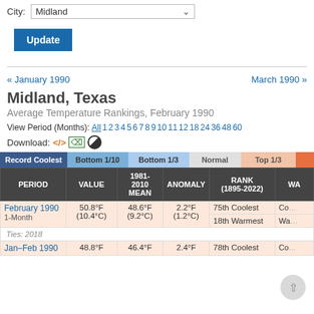City: Midland
Update
« January 1990    March 1990 »
Midland, Texas
Average Temperature Rankings, February 1990
View Period (Months): All 1 2 3 4 5 6 7 8 9 10 11 12 18 24 36 48 60
Download:
| PERIOD | VALUE | 1981-2010 MEAN | ANOMALY | RANK (1895-2022) | WA |
| --- | --- | --- | --- | --- | --- |
| February 1990 / 1-Month | 50.8°F (10.4°C) | 48.6°F (9.2°C) | 2.2°F (1.2°C) | 75th Coolest / 18th Warmest | Co... / Wa... |
| Ties: 2018 |  |  |  |  |  |
| Jan–Feb 1990 | 48.8°F | 46.4°F | 2.4°F | 78th Coolest | Co... |